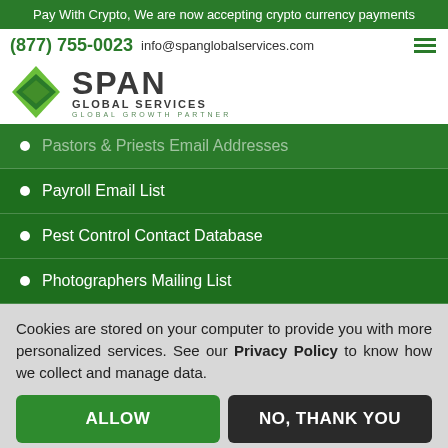Pay With Crypto, We are now accepting crypto currency payments
(877) 755-0023   info@spanglobalservices.com
[Figure (logo): Span Global Services logo with green diamond shapes and company name]
Pastors & Priests Email Addresses
Payroll Email List
Pest Control Contact Database
Photographers Mailing List
Cookies are stored on your computer to provide you with more personalized services. See our Privacy Policy to know how we collect and manage data.
ALLOW
NO, THANK YOU
Why not leave us a message?